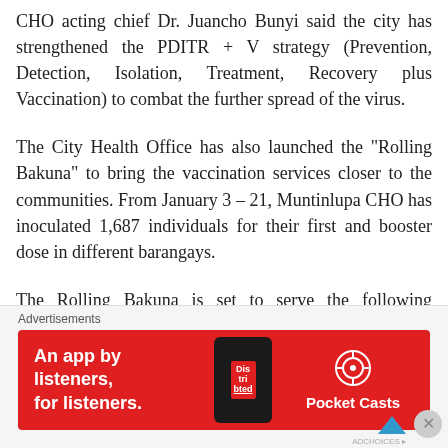CHO acting chief Dr. Juancho Bunyi said the city has strengthened the PDITR + V strategy (Prevention, Detection, Isolation, Treatment, Recovery plus Vaccination) to combat the further spread of the virus.
The City Health Office has also launched the "Rolling Bakuna" to bring the vaccination services closer to the communities. From January 3 – 21, Muntinlupa CHO has inoculated 1,687 individuals for their first and booster dose in different barangays.
The Rolling Bakuna is set to serve the following communities and organizations in the coming days: Muntinlupa Barangay Alabang...
Advertisements
[Figure (infographic): Red advertisement banner for Pocket Casts app. Text reads 'An app by listeners, for listeners.' with a phone mockup showing 'Dis tri buted' and the Pocket Casts logo and name.]